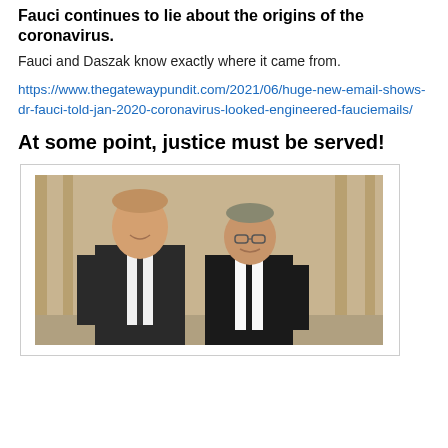Fauci continues to lie about the origins of the coronavirus.
Fauci and Daszak know exactly where it came from.
https://www.thegatewaypundit.com/2021/06/huge-new-email-shows-dr-fauci-told-jan-2020-coronavirus-looked-engineered-fauciemails/
At some point, justice must be served!
[Figure (photo): Two men in dark suits standing together posing for a photo, in front of draped curtains]